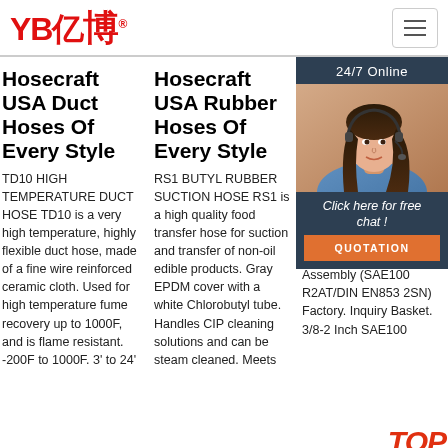YB亿博® — navigation header with hamburger menu
Hosecraft USA Duct Hoses Of Every Style
TD10 HIGH TEMPERATURE DUCT HOSE TD10 is a very high temperature, highly flexible duct hose, made of a fine wire reinforced ceramic cloth. Used for high temperature fume recovery up to 1000F, and is flame resistant. -200F to 1000F. 3' to 24'
Hosecraft USA Rubber Hoses Of Every Style
RS1 BUTYL RUBBER SUCTION HOSE RS1 is a high quality food transfer hose for suction and transfer of non-oil edible products. Gray EPDM cover with a white Chlorobutyl tube. Handles CIP cleaning solutions and can be steam cleaned. Meets
High Ho Ma & S Ch
High Imp Hos Bra Hydraulic Rubber Hose Assembly (SAE100 R2AT/DIN EN853 2SN) Factory. Inquiry Basket. 3/8-2 Inch SAE100
[Figure (photo): Customer service representative woman with headset, chat widget overlay with 24/7 Online label, Click here for free chat button, and QUOTATION orange button]